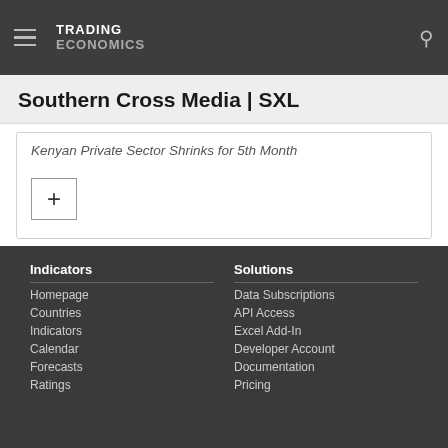TRADING ECONOMICS
Southern Cross Media | SXL
Kenyan Private Sector Shrinks for 5th Month
Indicators | Homepage, Countries, Indicators, Calendar, Forecasts, Ratings | Solutions | Data Subscriptions, API Access, Excel Add-In, Developer Account, Documentation, Pricing